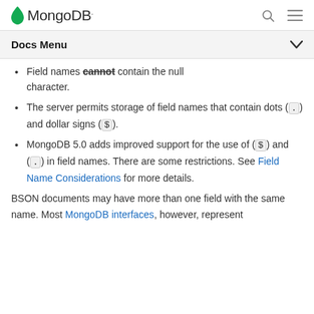MongoDB [logo] | search | menu
Docs Menu
Field names cannot contain the null character.
The server permits storage of field names that contain dots (.) and dollar signs ($).
MongoDB 5.0 adds improved support for the use of ($) and (.) in field names. There are some restrictions. See Field Name Considerations for more details.
BSON documents may have more than one field with the same name. Most MongoDB interfaces, however, represent